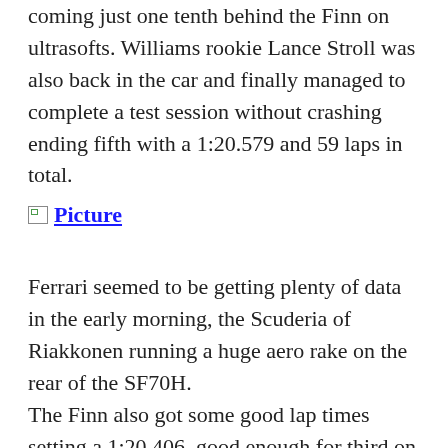coming just one tenth behind the Finn on ultrasofts. Williams rookie Lance Stroll was also back in the car and finally managed to complete a test session without crashing ending fifth with a 1:20.579 and 59 laps in total.
[Figure (photo): Broken image placeholder labeled 'Picture']
Ferrari seemed to be getting plenty of data in the early morning, the Scuderia of Riakkonen running a huge aero rake on the rear of the SF70H. The Finn also got some good lap times setting a 1:20.406, good enough for third on the time sheets Before bringing the red flag out. In the last few minutes of the day he had a scary high speed spin at turn 3 ending the days running with a visit to the wall after a fairly small 53 laps. Red Bull also hit problems in the final stages. Max Verstappen getting up to